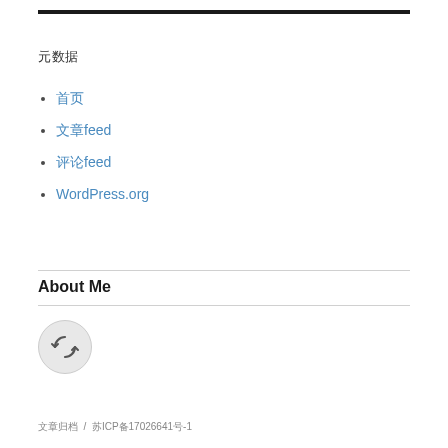元数据
首页
文章feed
评论feed
WordPress.org
About Me
[Figure (illustration): Circular avatar placeholder icon with a sync/refresh symbol inside]
文章归档  /  苏ICP备17026641号-1